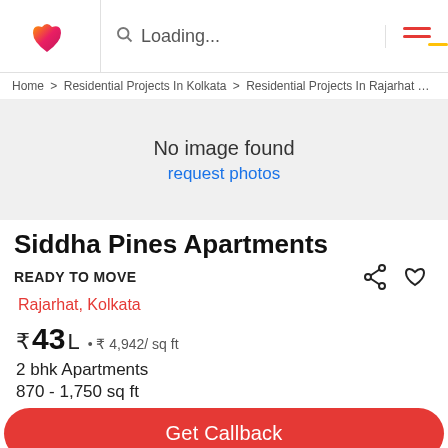Loading...
Home > Residential Projects In Kolkata > Residential Projects In Rajarhat > Si
[Figure (photo): No image found placeholder with grey background]
No image found
request photos
Siddha Pines Apartments
READY TO MOVE
Rajarhat, Kolkata
₹43 L • ₹ 4,942/ sq ft
2 bhk Apartments
870 - 1,750 sq ft
Get Callback
Key Details